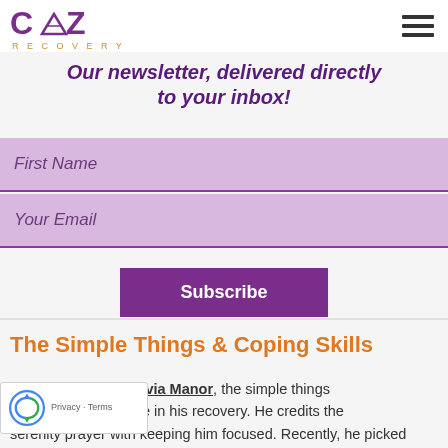CAZ Recovery
Our newsletter, delivered directly to your inbox!
[Figure (screenshot): Newsletter signup form with First Name and Your Email fields and a Subscribe button]
The Simple Things & Coping Skills
a resident at Cazenovia Manor, the simple things [de a major difference in his recovery. He credits the serenity prayer with keeping him focused. Recently, he picked